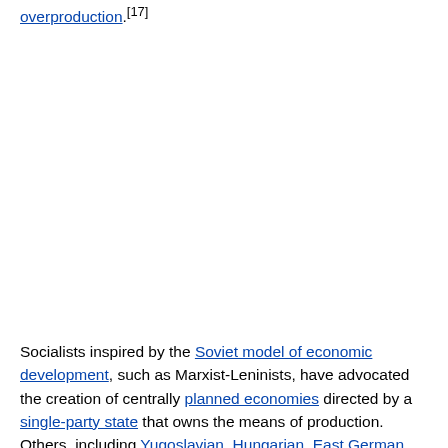overproduction.[17]
Socialists inspired by the Soviet model of economic development, such as Marxist-Leninists, have advocated the creation of centrally planned economies directed by a single-party state that owns the means of production. Others, including Yugoslavian, Hungarian, East German and Chinese communist governments in the 1970s